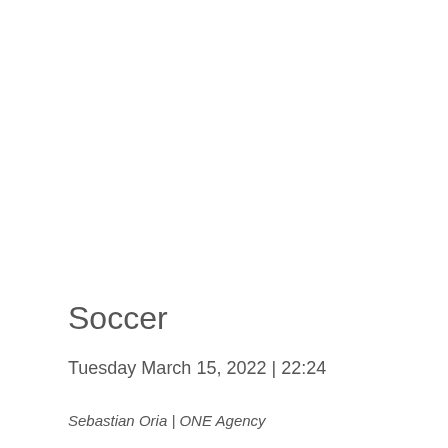Soccer
Tuesday March 15, 2022 | 22:24
Sebastian Oria | ONE Agency